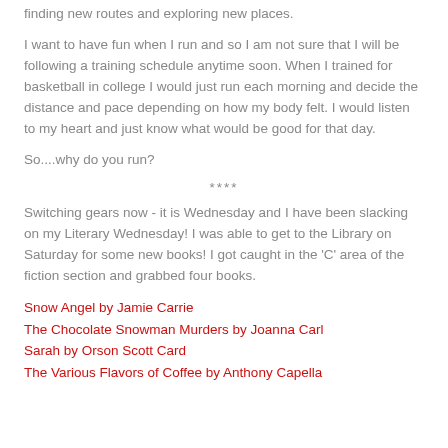finding new routes and exploring new places.
I want to have fun when I run and so I am not sure that I will be following a training schedule anytime soon. When I trained for basketball in college I would just run each morning and decide the distance and pace depending on how my body felt. I would listen to my heart and just know what would be good for that day.
So....why do you run?
****
Switching gears now - it is Wednesday and I have been slacking on my Literary Wednesday! I was able to get to the Library on Saturday for some new books! I got caught in the 'C' area of the fiction section and grabbed four books.
Snow Angel by Jamie Carrie
The Chocolate Snowman Murders by Joanna Carl
Sarah by Orson Scott Card
The Various Flavors of Coffee by Anthony Capella